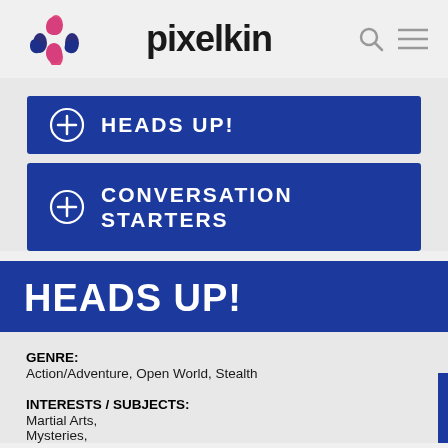pixelkin
HEADS UP!
CONVERSATION STARTERS
HEADS UP!
GENRE:
Action/Adventure, Open World, Stealth
INTERESTS / SUBJECTS:
Martial Arts,
Mysteries,